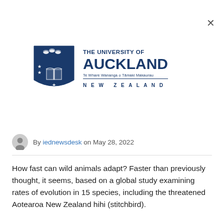[Figure (logo): University of Auckland logo with shield crest and text: THE UNIVERSITY OF AUCKLAND, Te Whare Wananga o Tamaki Makaurau, NEW ZEALAND]
By iednewsdesk on May 28, 2022
How fast can wild animals adapt? Faster than previously thought, it seems, based on a global study examining rates of evolution in 15 species, including the threatened Aotearoa New Zealand hihi (stitchbird).